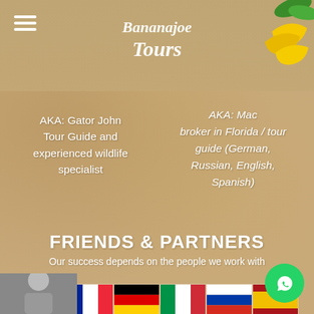[Figure (logo): Banana Joe Tours logo with script/cursive text in white]
AKA: Gator John
Tour Guide and experienced wildlife specialist
AKA: Mac
broker in Florida / tour guide (German, Russian, English, Spanish)
FRIENDS & PARTNERS
Our success depends on the people we work with
[Figure (illustration): Row of country flag icons: USA, France, Germany, Italy, Russia, Spain]
Select Language